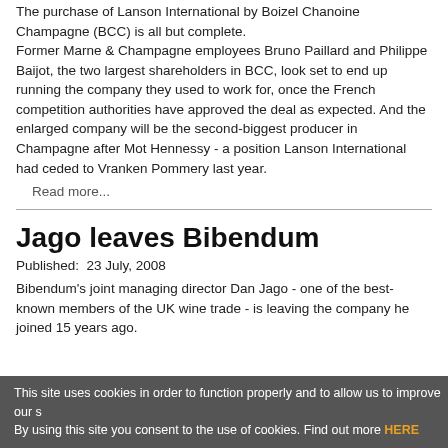The purchase of Lanson International by Boizel Chanoine Champagne (BCC) is all but complete. Former Marne & Champagne employees Bruno Paillard and Philippe Baijot, the two largest shareholders in BCC, look set to end up running the company they used to work for, once the French competition authorities have approved the deal as expected. And the enlarged company will be the second-biggest producer in Champagne after Mot Hennessy - a position Lanson International had ceded to Vranken Pommery last year.
Read more...
Jago leaves Bibendum
Published:  23 July, 2008
Bibendum's joint managing director Dan Jago - one of the best-known members of the UK wine trade - is leaving the company he joined 15 years ago.
This site uses cookies in order to function properly and to allow us to improve our s... By using this site you consent to the use of cookies. Find out more HERE